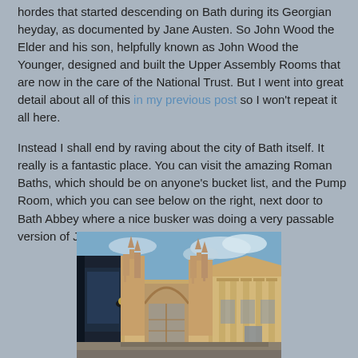hordes that started descending on Bath during its Georgian heyday, as documented by Jane Austen. So John Wood the Elder and his son, helpfully known as John Wood the Younger, designed and built the Upper Assembly Rooms that are now in the care of the National Trust. But I went into great detail about all of this in my previous post so I won't repeat it all here.
Instead I shall end by raving about the city of Bath itself. It really is a fantastic place. You can visit the amazing Roman Baths, which should be on anyone's bucket list, and the Pump Room, which you can see below on the right, next door to Bath Abbey where a nice busker was doing a very passable version of Jolene.
[Figure (photo): Photo of Bath Abbey and the Pump Room building from street level, showing Gothic architecture of the abbey with tall spires and large stained glass windows, and the neoclassical Pump Room building to the right, under a blue sky with some clouds.]